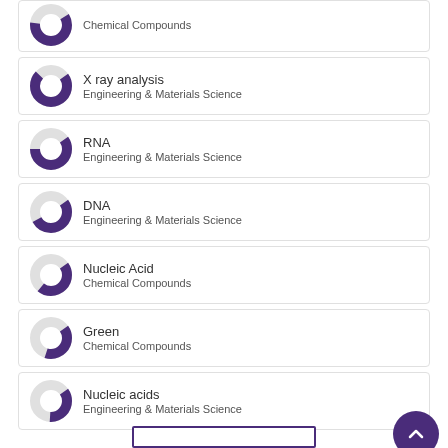Chemical Compounds
X ray analysis – Engineering & Materials Science
RNA – Engineering & Materials Science
DNA – Engineering & Materials Science
Nucleic Acid – Chemical Compounds
Green – Chemical Compounds
Nucleic acids – Engineering & Materials Science